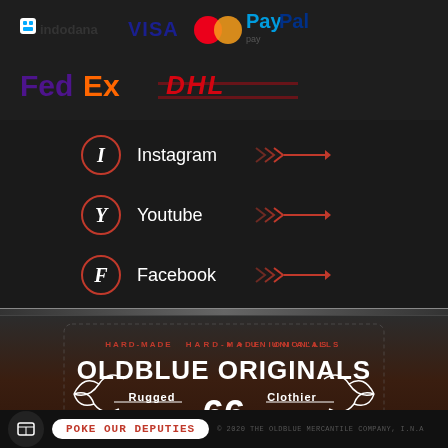[Figure (logo): Payment logos: Indodana, VISA, Mastercard, PayPal]
[Figure (logo): Shipping logos: FedEx, DHL]
Instagram
Youtube
Facebook
[Figure (logo): Oldblue Originals brand label: HARD-MADE & UNION'ALLS, OLDBLUE ORIGINALS, Rugged 66 Clothier, & GENERAL MERCHANDISE]
POKE OUR DEPUTIES | © 2020 THE OLDBLUE MERCANTILE COMPANY, I.N.A